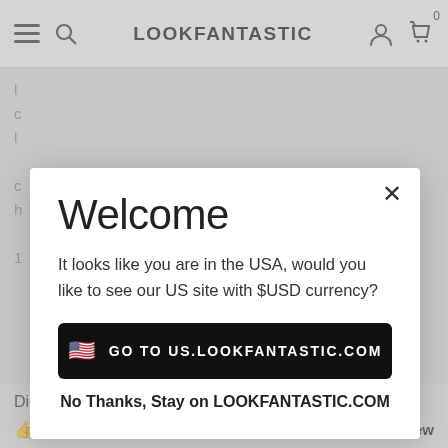LOOKFANTASTIC
[Figure (screenshot): Screenshot of the LOOKFANTASTIC website navigation bar with hamburger menu, search icon, brand logo, user account icon, and shopping cart icon with badge showing 0]
Welcome
It looks like you are in the USA, would you like to see our US site with $USD currency?
GO TO US.LOOKFANTASTIC.COM
No Thanks, Stay on LOOKFANTASTIC.COM
Did you find this review helpful?
Yes (0)   No (0)   Report this review